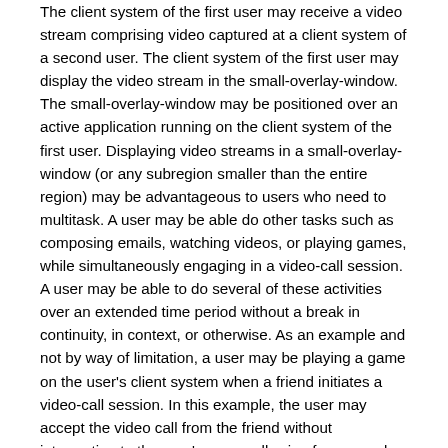The client system of the first user may receive a video stream comprising video captured at a client system of a second user. The client system of the first user may display the video stream in the small-overlay-window. The small-overlay-window may be positioned over an active application running on the client system of the first user. Displaying video streams in a small-overlay-window (or any subregion smaller than the entire region) may be advantageous to users who need to multitask. A user may be able do other tasks such as composing emails, watching videos, or playing games, while simultaneously engaging in a video-call session. A user may be able to do several of these activities over an extended time period without a break in continuity, in context, or otherwise. As an example and not by way of limitation, a user may be playing a game on the user's client system when a friend initiates a video-call session. In this example, the user may accept the video call from the friend without interruption to the user's game, allowing for a seamless user experience where accepting a call causes minimal interference with the user's current activities. As another example and not by way of limitation, the user may be engaged in a video-call session with a friend and may decide to watch a video